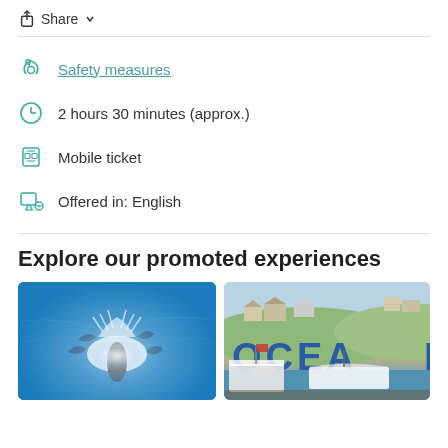Share
Safety measures
2 hours 30 minutes (approx.)
Mobile ticket
Offered in: English
Explore our promoted experiences
[Figure (photo): Aerial view of a speedboat with dolphins swimming alongside it in blue ocean water]
[Figure (photo): Harbor scene with boats docked and a hillside with large OCEAN sign letters in blue]